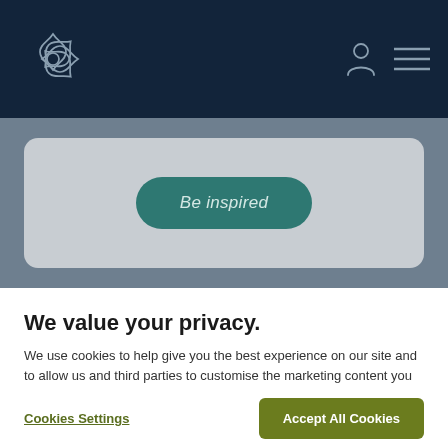[Figure (screenshot): Website header with dark navy background, a decorative flower/snowflake logo on the left, and a user profile icon and hamburger menu icon on the right]
[Figure (screenshot): A card section with grey background containing a teal rounded 'Be inspired' button]
We value your privacy.
We use cookies to help give you the best experience on our site and to allow us and third parties to customise the marketing content you see across websites and social media. For more information see our Cookie Policy
Cookies Settings
Accept All Cookies